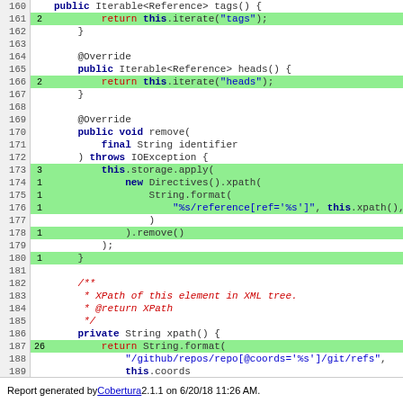[Figure (screenshot): Java source code listing with line numbers 160-193, showing code coverage highlighting. Lines with green background have hit counts. Code shows methods tags(), heads(), remove(), xpath() with annotations and string formatting calls.]
Report generated by Cobertura 2.1.1 on 6/20/18 11:26 AM.